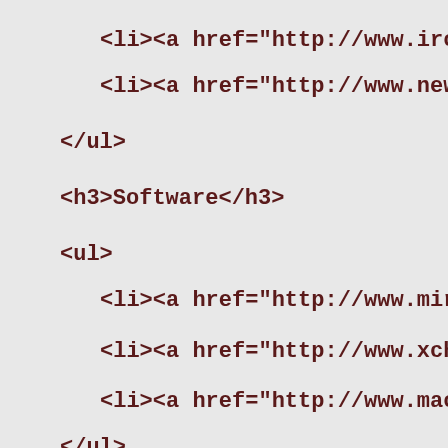<li><a href="http://www.irchelp.org/i
<li><a href="http://www.newircusers.c
</ul>
<h3>Software</h3>
<ul>
<li><a href="http://www.mirc.com" tit
<li><a href="http://www.xchat.org" ti
<li><a href="http://www.macirc.com" t
</ul>
<h3>Conclusion</h3>